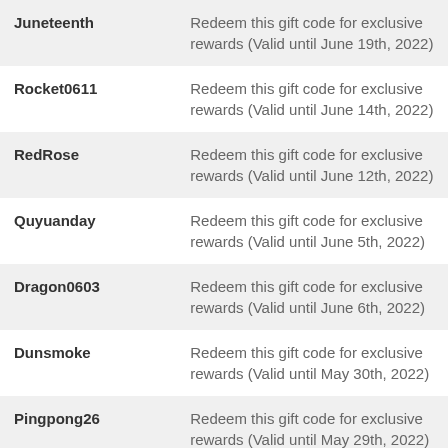| Code | Description |
| --- | --- |
| Juneteenth | Redeem this gift code for exclusive rewards (Valid until June 19th, 2022) |
| Rocket0611 | Redeem this gift code for exclusive rewards (Valid until June 14th, 2022) |
| RedRose | Redeem this gift code for exclusive rewards (Valid until June 12th, 2022) |
| Quyuanday | Redeem this gift code for exclusive rewards (Valid until June 5th, 2022) |
| Dragon0603 | Redeem this gift code for exclusive rewards (Valid until June 6th, 2022) |
| Dunsmoke | Redeem this gift code for exclusive rewards (Valid until May 30th, 2022) |
| Pingpong26 | Redeem this gift code for exclusive rewards (Valid until May 29th, 2022) |
| Camping0522 | Redeem this gift code for exclusive rewards (Valid until May 25th, 2022) |
| Vesak0514 | Redeem this gift code for exclusive rewards |